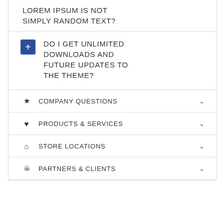LOREM IPSUM IS NOT SIMPLY RANDOM TEXT?
+ DO I GET UNLIMITED DOWNLOADS AND FUTURE UPDATES TO THE THEME?
★ COMPANY QUESTIONS
♥ PRODUCTS & SERVICES
⌂ STORE LOCATIONS
👤 PARTNERS & CLIENTS